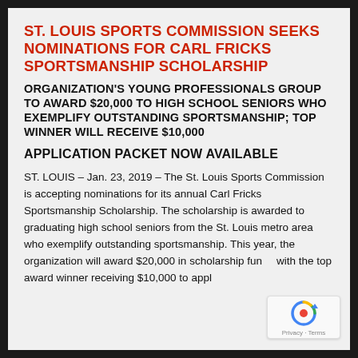ST. LOUIS SPORTS COMMISSION SEEKS NOMINATIONS FOR CARL FRICKS SPORTSMANSHIP SCHOLARSHIP
ORGANIZATION'S YOUNG PROFESSIONALS GROUP TO AWARD $20,000 TO HIGH SCHOOL SENIORS WHO EXEMPLIFY OUTSTANDING SPORTSMANSHIP; TOP WINNER WILL RECEIVE $10,000
APPLICATION PACKET NOW AVAILABLE
ST. LOUIS – Jan. 23, 2019 – The St. Louis Sports Commission is accepting nominations for its annual Carl Fricks Sportsmanship Scholarship.  The scholarship is awarded to graduating high school seniors from the St. Louis metro area who exemplify outstanding sportsmanship.  This year, the organization will award $20,000 in scholarship funds with the top award winner receiving $10,000 to apply